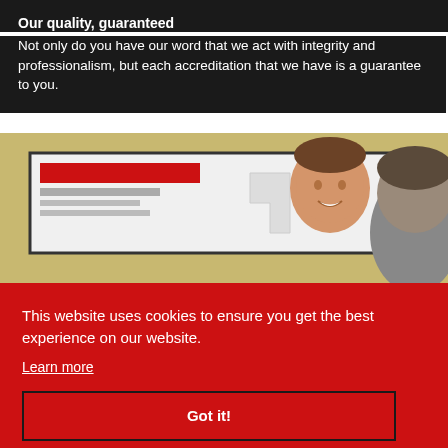Our quality, guaranteed
Not only do you have our word that we act with integrity and professionalism, but each accreditation that we have is a guarantee to you.
[Figure (photo): A man smiling in front of a presentation screen showing a document, with another person's head visible in the foreground from behind.]
This website uses cookies to ensure you get the best experience on our website.
Learn more
Got it!